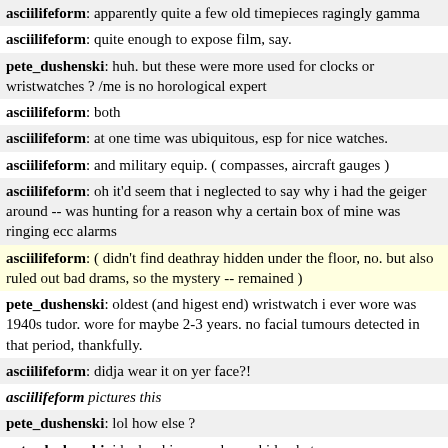asciilifeform: apparently quite a few old timepieces ragingly gamma
asciilifeform: quite enough to expose film, say.
pete_dushenski: huh. but these were more used for clocks or wristwatches ? /me is no horological expert
asciilifeform: both
asciilifeform: at one time was ubiquitous, esp for nice watches.
asciilifeform: and military equip. ( compasses, aircraft gauges )
asciilifeform: oh it'd seem that i neglected to say why i had the geiger around -- was hunting for a reason why a certain box of mine was ringing ecc alarms
asciilifeform: ( didn't find deathray hidden under the floor, no. but also ruled out bad drams, so the mystery -- remained )
pete_dushenski: oldest (and higest end) wristwatch i ever wore was 1940s tudor. wore for maybe 2-3 years. no facial tumours detected in that period, thankfully.
asciilifeform: didja wear it on yer face?!
asciilifeform pictures this
pete_dushenski: lol how else ?
pete_dushenski: i had a skinny neck as a kid, what.
asciilifeform: lul
pete_dushenski: https://lovecraftianscience.files.wordpress.com/2015/02/radium-girls-3_videomedicine-com.jpg
asciilifeform: hey BingoBoingo ^ one for your files.